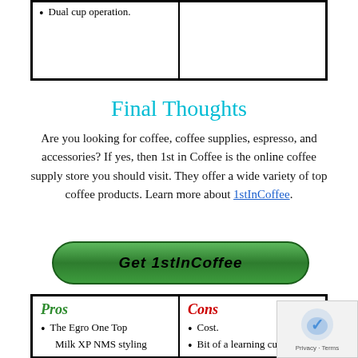Dual cup operation.
Final Thoughts
Are you looking for coffee, coffee supplies, espresso, and accessories? If yes, then 1st in Coffee is the online coffee supply store you should visit. They offer a wide variety of top coffee products. Learn more about 1stInCoffee.
[Figure (other): Green rounded button with bold italic text 'Get 1stInCoffee']
| Pros | Cons |
| --- | --- |
| The Egro One Top Milk XP NMS styling | Cost.
Bit of a learning curve |
[Figure (other): reCAPTCHA widget showing a shield/checkmark logo with Privacy - Terms text]